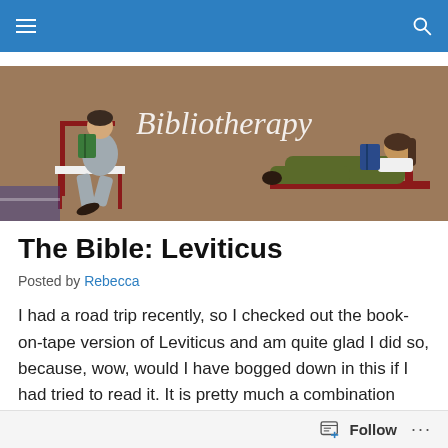Navigation bar with menu and search icons
[Figure (illustration): Bibliotherapy blog banner illustration showing two people reading books. Left figure seated in a chair holding a green book, right figure reclining on a couch reading a blue book. Brown background with 'Bibliotherapy' text overlay.]
The Bible: Leviticus
Posted by Rebecca
I had a road trip recently, so I checked out the book-on-tape version of Leviticus and am quite glad I did so, because, wow, would I have bogged down in this if I had tried to read it. It is pretty much a combination how-to
Follow ...